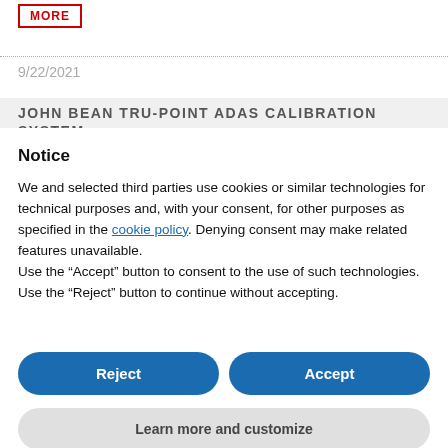MORE
9/22/2021
JOHN BEAN TRU-POINT ADAS CALIBRATION SYSTEM
Notice
We and selected third parties use cookies or similar technologies for technical purposes and, with your consent, for other purposes as specified in the cookie policy. Denying consent may make related features unavailable.
Use the “Accept” button to consent to the use of such technologies. Use the “Reject” button to continue without accepting.
Reject
Accept
Learn more and customize